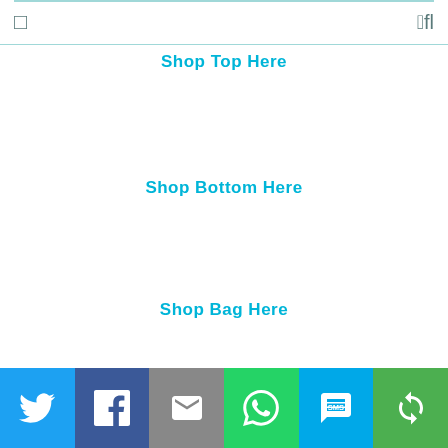Shop Top Here
Shop Bottom Here
Shop Bag Here
[Figure (infographic): Social sharing bar with Twitter, Facebook, Email, WhatsApp, SMS, and Share buttons]